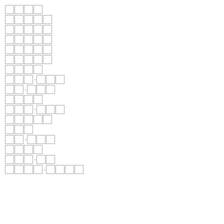████
█████
█████
█████
█████
█████
████
███·███
██·███
████
███·███
█████
███
██·███
████
███·██
████·████